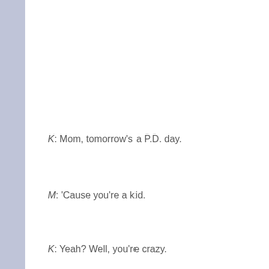K: Mom, tomorrow's a P.D. day.
M: 'Cause you're a kid.
K: Yeah? Well, you're crazy.
M: Go to bed. We'll talk in the morning.
K: It is morning.
M: Go to bed.
Privacy & Cookies: This site uses cookies. By continuing to use this website, you agree to their use.
To find out more, including how to control cookies, see here: Cookie Policy
Close and accept